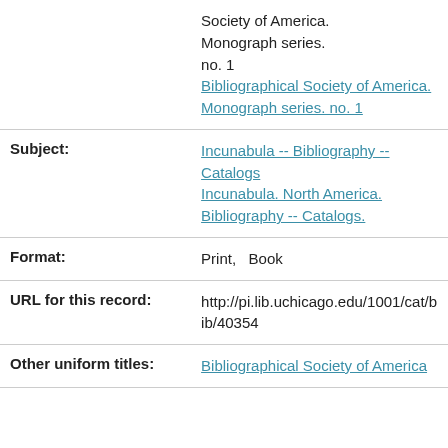| Field | Value |
| --- | --- |
|  | Society of America. Monograph series. no. 1
Bibliographical Society of America. Monograph series. no. 1 |
| Subject: | Incunabula -- Bibliography -- Catalogs
Incunabula. North America. Bibliography -- Catalogs. |
| Format: | Print,   Book |
| URL for this record: | http://pi.lib.uchicago.edu/1001/cat/bib/40354 |
| Other uniform titles: | Bibliographical Society of America |